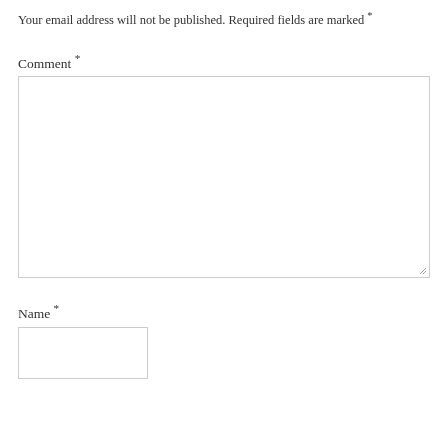Your email address will not be published. Required fields are marked *
Comment *
[Figure (screenshot): Large empty comment textarea input box with resize handle at bottom right]
Name *
[Figure (screenshot): Small empty name text input box]